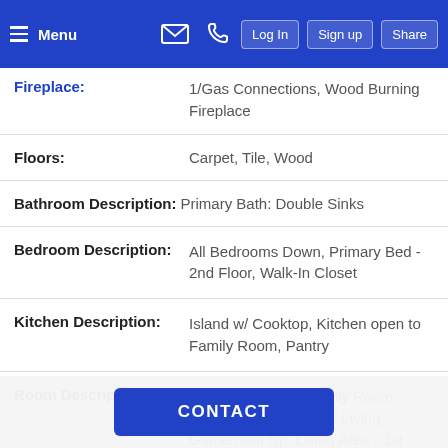Menu | Log In | Sign up | Share
Fireplace: 1/Gas Connections, Wood Burning Fireplace
Floors: Carpet, Tile, Wood
Bathroom Description: Primary Bath: Double Sinks
Bedroom Description: All Bedrooms Down, Primary Bed - 2nd Floor, Walk-In Closet
Kitchen Description: Island w/ Cooktop, Kitchen open to Family Room, Pantry
Room Description: Breakfast Room, Family Room, Formal Dining, Formal Living, Gameroom Up, Living Area - 1st Floor, Utility Room in House
Heating:
CONTACT